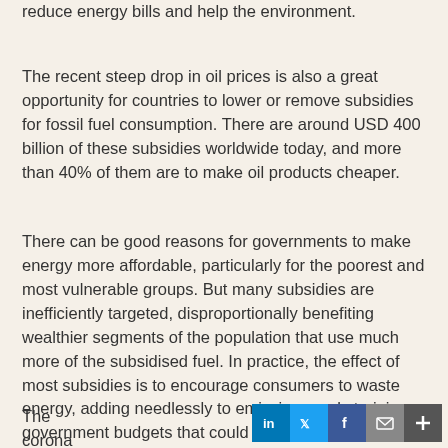reduce energy bills and help the environment.
The recent steep drop in oil prices is also a great opportunity for countries to lower or remove subsidies for fossil fuel consumption. There are around USD 400 billion of these subsidies worldwide today, and more than 40% of them are to make oil products cheaper.
There can be good reasons for governments to make energy more affordable, particularly for the poorest and most vulnerable groups. But many subsidies are inefficiently targeted, disproportionally benefiting wealthier segments of the population that use much more of the subsidised fuel. In practice, the effect of most subsidies is to encourage consumers to waste energy, adding needlessly to emissions and straining government budgets that could otherwise be prioritising education or health care.
The corona virus brings other dangers for clean energy